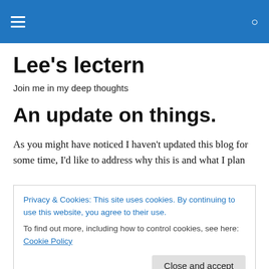≡   🔍
Lee's lectern
Join me in my deep thoughts
An update on things.
As you might have noticed I haven't updated this blog for some time, I'd like to address why this is and what I plan
Privacy & Cookies: This site uses cookies. By continuing to use this website, you agree to their use.
To find out more, including how to control cookies, see here: Cookie Policy

Close and accept
ANYTHING positive to write about. The world economy is